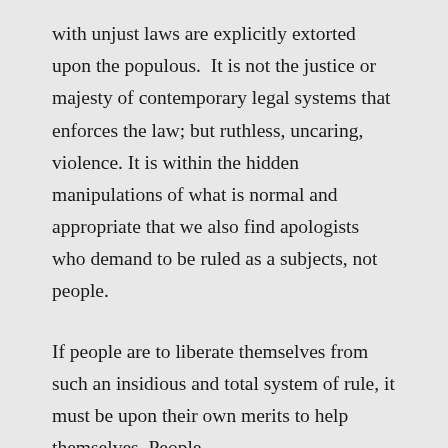with unjust laws are explicitly extorted upon the populous.  It is not the justice or majesty of contemporary legal systems that enforces the law; but ruthless, uncaring, violence. It is within the hidden manipulations of what is normal and appropriate that we also find apologists who demand to be ruled as a subjects, not people.
If people are to liberate themselves from such an insidious and total system of rule, it must be upon their own merits to help themselves. People